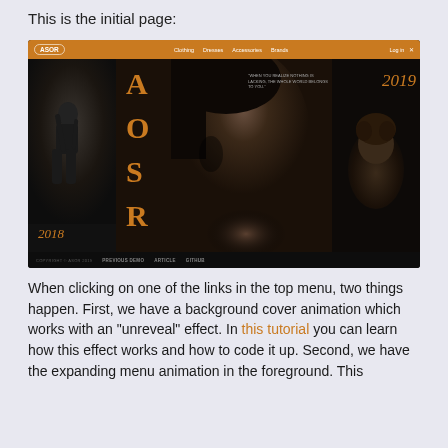This is the initial page:
[Figure (screenshot): Screenshot of ASOR fashion website with dark background, orange navigation bar, large fashion photography, orange letters A-O-S-R overlaid on center image, years 2018 and 2019 shown, navigation links: Clothing, Dresses, Accessories, Brands]
When clicking on one of the links in the top menu, two things happen. First, we have a background cover animation which works with an "unreveal" effect. In this tutorial you can learn how this effect works and how to code it up. Second, we have the expanding menu animation in the foreground. This